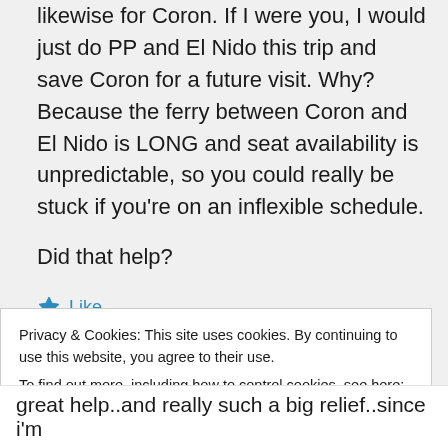likewise for Coron. If I were you, I would just do PP and El Nido this trip and save Coron for a future visit. Why? Because the ferry between Coron and El Nido is LONG and seat availability is unpredictable, so you could really be stuck if you're on an inflexible schedule.
Did that help?
★ Like
↩ Reply
Privacy & Cookies: This site uses cookies. By continuing to use this website, you agree to their use.
To find out more, including how to control cookies, see here: Cookie Policy
Close and accept
great help..and really such a big relief..since i'm